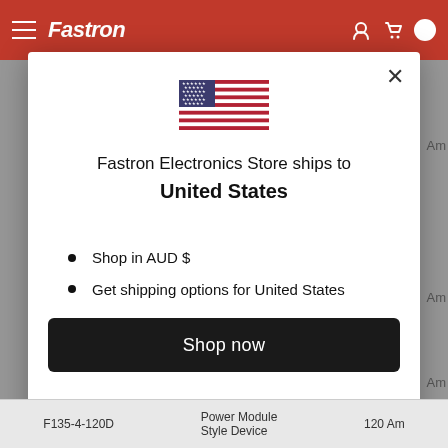[Figure (screenshot): Fastron Electronics Store website header with red background and white italic logo text]
[Figure (illustration): US flag SVG illustration in modal dialog]
Fastron Electronics Store ships to United States
Shop in AUD $
Get shipping options for United States
Shop now
Change shipping country
F135-4-120D
Power Module Style Device
120 Am